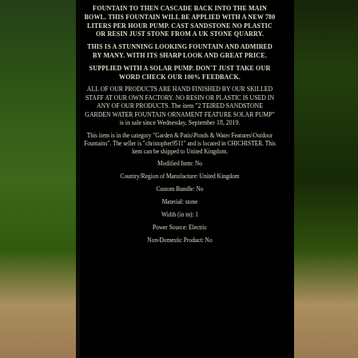FOUNTAIN TO THEN CASCADE BACK INTO THE MAIN BOWL. THIS FOUNTAIN WILL BE APPLIED WITH A NEW 780 liters per HOUR PUMP. CAST SANDSTONE NO PLASTIC OR RESIN JUST STONE FROM A UK STONE QUARRY.
THIS IS A STUNNING LOOKING FOUNTAIN AND ADMIRED BY MANY. WITH ITS SHARP LOOK AND GREAT PRICE.
SUPPLIED WITH A SOLAR PUMP. DON'T JUST TAKE OUR WORD CHECK OUR 100% FEEDBACK.
ALL OF OUR PRODUCTS ARE HAND FINISHED BY OUR SKILLED STAFF AT OUR OWN FACTORY. NO RESIN OR PLASTIC IS USED IN ANY OF OUR PRODUCTS. The item "2 TEIRED SANDSTONE GARDEN WATER FOUNTAIN ORNAMENT FEATURE SOLAR PUMP" is in sale since Wednesday, September 18, 2019.
This item is in the category "Garden & Patio\Ponds & Water Features\Outdoor Fountains". The seller is "christopher9511" and is located in CHICHISTER. This item can be shipped to United Kingdom.
Modified Item: No
Country/Region of Manufacture: United Kingdom
Custom Bundle: No
Material: stone
Width (in m): 1
Power Source: Electric
Non-Domestic Product: No